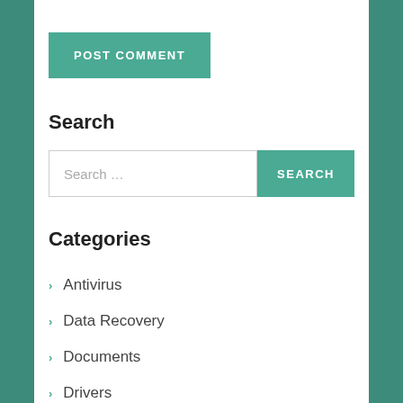POST COMMENT
Search
Search …
Categories
Antivirus
Data Recovery
Documents
Drivers
Graphics
Multimedia
PC Software